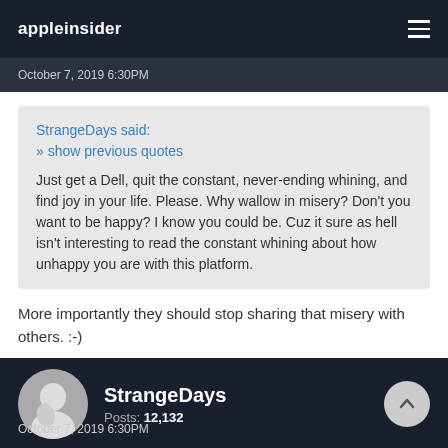appleinsider
October 7, 2019 6:30PM
StrangeDays said:
» show previous quotes
Just get a Dell, quit the constant, never-ending whining, and find joy in your life. Please. Why wallow in misery? Don't you want to be happy? I know you could be. Cuz it sure as hell isn't interesting to read the constant whining about how unhappy you are with this platform.
More importantly they should stop sharing that misery with others. :-)
StrangeDays
Posts: 12,132
October 7, 2019 6:30PM